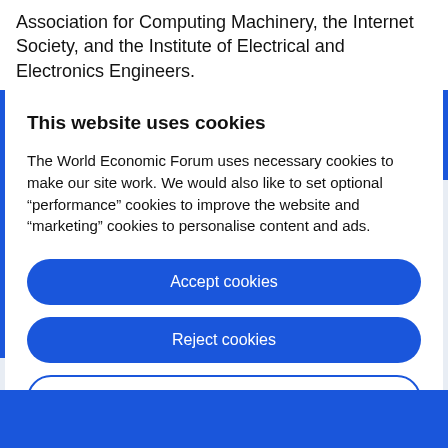Association for Computing Machinery, the Internet Society, and the Institute of Electrical and Electronics Engineers.
This website uses cookies
The World Economic Forum uses necessary cookies to make our site work. We would also like to set optional “performance” cookies to improve the website and “marketing” cookies to personalise content and ads.
Accept cookies
Reject cookies
Cookie settings